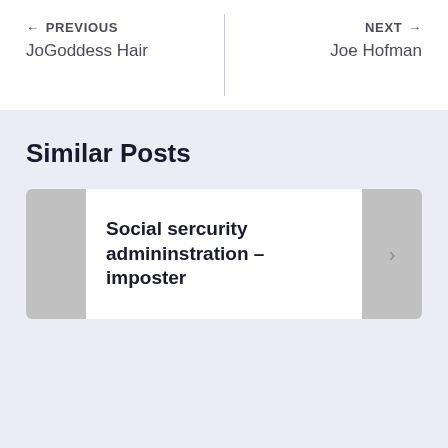← PREVIOUS
JoGoddess Hair
NEXT →
Joe Hofman
Similar Posts
Social sercurity admininstration – imposter